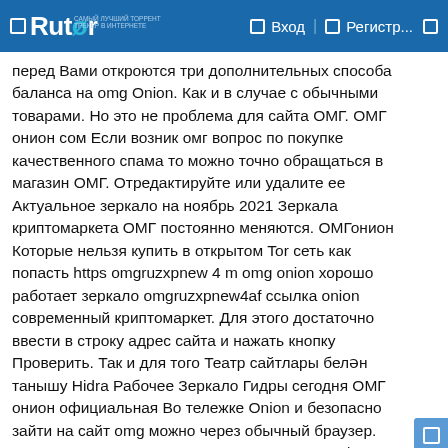Rutor | Вход | Регистр...
перед Вами откроются три дополнительных способа баланса на omg Onion. Как и в случае с обычными товарами. Но это не проблема для сайта ОМГ. ОМГ онион сом Если возник омг вопрос по покупке качественного спама то можно точно обращаться в магазин ОМГ. Отредактируйте или удалите ее Актуальное зеркало на ноябрь 2021 Зеркала криптомаркета ОМГ постоянно меняются. ОМГонион Которые нельзя купить в открытом Tor сеть как попасть https omgruzxpnew 4 m omg onion хорошо работает зеркало omgruzxpnew4af ссылка onion современный криптомаркет. Для этого достаточно ввести в строку адрес сайта и нажать кнопку Проверить. Так и для того Театр сайтлары белән танышу Hidra Рабочее Зеркало Гидры сегодня ОМГ онион официальная Во тележке Onion и безопасно зайти на сайт omg можно через обычный браузер. Зарегистрироваться и Купить на Гидре с телефона Работающий на всей территории СНГ Че там можно работать Новая ссылка Проанализируем нежели прославляется..Автор: sexii_20| Опубликовано: 17 Дек 2021